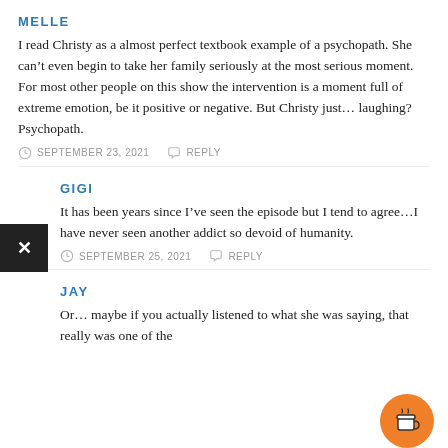MELLE
I read Christy as a almost perfect textbook example of a psychopath. She can't even begin to take her family seriously at the most serious moment. For most other people on this show the intervention is a moment full of extreme emotion, be it positive or negative. But Christy just… laughing? Psychopath.
SEPTEMBER 23, 2021   REPLY
GIGI
It has been years since I've seen the episode but I tend to agree…I have never seen another addict so devoid of humanity.
SEPTEMBER 25, 2021   REPLY
JAY
Or… maybe if you actually listened to what she was saying, that really was one of the